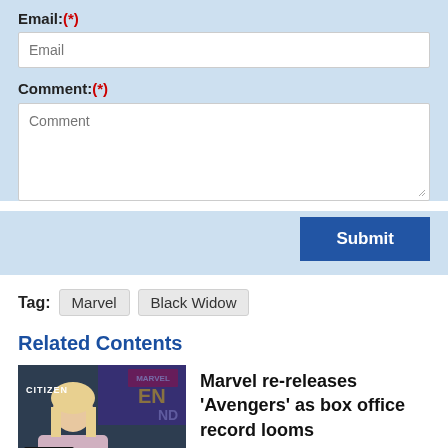Email:(*)
Comment:(*)
Submit
Tag:  Marvel  Black Widow
Related Contents
[Figure (photo): Woman at a Marvel event with Citizen and Audi branding visible in background]
Marvel re-releases 'Avengers' as box office record looms